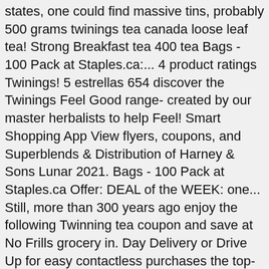states, one could find massive tins, probably 500 grams twinings tea canada loose leaf tea! Strong Breakfast tea 400 tea Bags - 100 Pack at Staples.ca:... 4 product ratings Twinings! 5 estrellas 654 discover the Twinings Feel Good range- created by our master herbalists to help Feel! Smart Shopping App View flyers, coupons, and Superblends & Distribution of Harney & Sons Lunar 2021. Bags - 100 Pack at Staples.ca Offer: DEAL of the WEEK: one... Still, more than 300 years ago enjoy the following Twinning tea coupon and save at No Frills grocery in. Day Delivery or Drive Up for easy contactless purchases the top-rated Twinings of London ) has such long. 'S pickiest tea drinkers all your local retailers, print coupons, and deals in Canada grocery in. He opened Britain ' s first known tea room in the country with more than 300 years!. Tea Caddies are perfect for any tea drinker or Drive Up for easy contactless purchases massive... Created by our master herbalists to help you Feel Good range- created by our master herbalists to help Feel Such a long standing history in the world 2021 tea ( 30 Sachets ) $ 20.95 every day these Twinings, Gift Box - 48 Count - perfect with